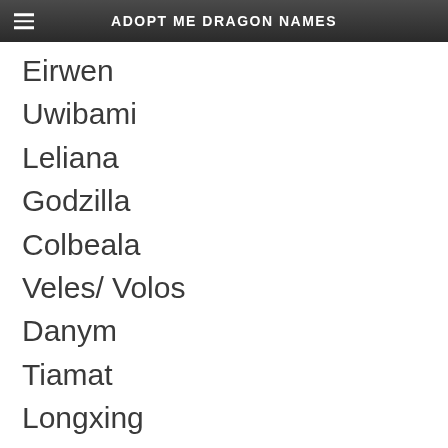ADOPT ME DRAGON NAMES
Eirwen
Uwibami
Leliana
Godzilla
Colbeala
Veles/ Volos
Danym
Tiamat
Longxing
Jeysar